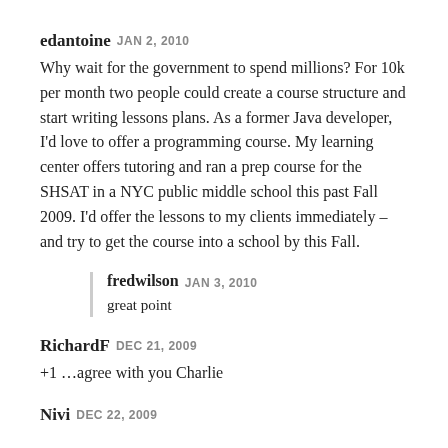edantoine JAN 2, 2010
Why wait for the government to spend millions? For 10k per month two people could create a course structure and start writing lessons plans. As a former Java developer, I'd love to offer a programming course. My learning center offers tutoring and ran a prep course for the SHSAT in a NYC public middle school this past Fall 2009. I'd offer the lessons to my clients immediately – and try to get the course into a school by this Fall.
fredwilson JAN 3, 2010
great point
RichardF DEC 21, 2009
+1 ...agree with you Charlie
Nivi DEC 22, 2009